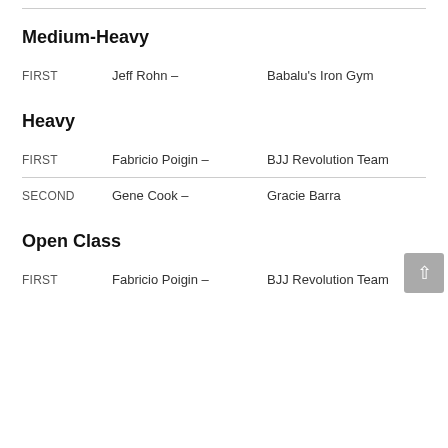| Place | Name | Team |
| --- | --- | --- |
| SECOND | Brian Benalla-Holmstrom – | Drysdale Jiu-Jitsu Canada |
| FIRST | Jeff Rohn – | Babalu's Iron Gym |
Medium-Heavy
Heavy
| Place | Name | Team |
| --- | --- | --- |
| FIRST | Fabricio Poigin – | BJJ Revolution Team |
| SECOND | Gene Cook – | Gracie Barra |
Open Class
| Place | Name | Team |
| --- | --- | --- |
| FIRST | Fabricio Poigin – | BJJ Revolution Team |